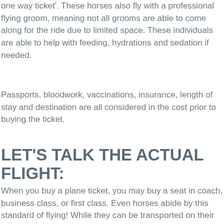one way ticket'. These horses also fly with a professional flying groom, meaning not all grooms are able to come along for the ride due to limited space. These individuals are able to help with feeding, hydrations and sedation if needed.
Passports, bloodwork, vaccinations, insurance, length of stay and destination are all considered in the cost prior to buying the ticket.
LET'S TALK THE ACTUAL FLIGHT:
When you buy a plane ticket, you may buy a seat in coach, business class, or first class. Even horses abide by this standard of flying! While they can be transported on their own, they are often flown with other horses in